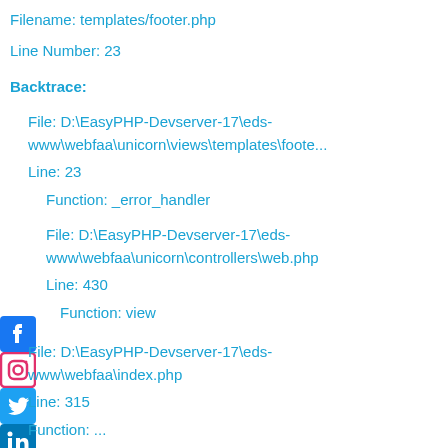Filename: templates/footer.php
Line Number: 23
Backtrace:
File: D:\EasyPHP-Devserver-17\eds-www\webfaa\unicorn\views\templates\foote...
Line: 23
Function: _error_handler
File: D:\EasyPHP-Devserver-17\eds-www\webfaa\unicorn\controllers\web.php
Line: 430
Function: view
File: D:\EasyPHP-Devserver-17\eds-www\webfaa\index.php
Line: 315
Function: ...